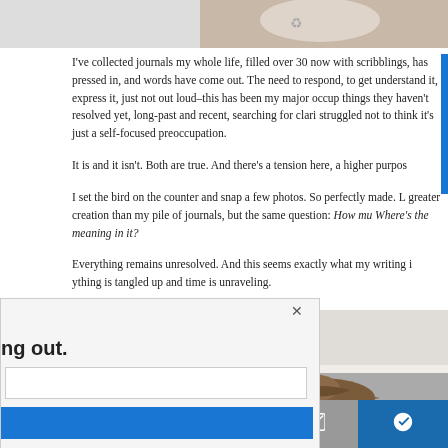[Figure (photo): Partial photo at top of page, appears to show light-colored objects on a surface]
I've collected journals my whole life, filled over 30 now with scribblings, has pressed in, and words have come out. The need to respond, to get understand it, express it, just not out loud–this has been my major occup things they haven't resolved yet, long-past and recent, searching for clari struggled not to think it's just a self-focused preoccupation.
It is and it isn't. Both are true. And there's a tension here, a higher purpos
I set the bird on the counter and snap a few photos. So perfectly made. L greater creation than my pile of journals, but the same question: How mu Where's the meaning in it?
Everything remains unresolved. And this seems exactly what my writing i ything is tangled up and time is unraveling.
[Figure (photo): Photo showing a dark brown bird figurine or object on a light surface, bottom portion of page]
[Figure (screenshot): Popup overlay with close button (×), bold text 'ng out.', an email input field, and a blue subscribe button]
[Figure (infographic): Social sharing bar with Twitter, Google+, Pinterest, email, and Bloglovin buttons]